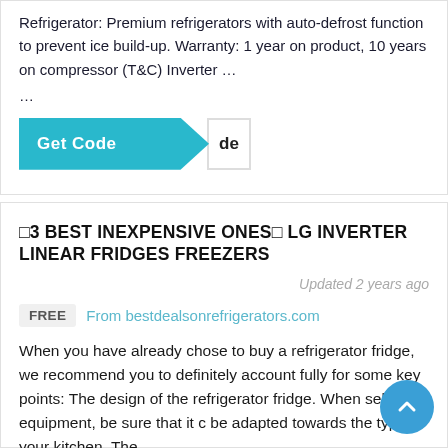Refrigerator: Premium refrigerators with auto-defrost function to prevent ice build-up. Warranty: 1 year on product, 10 years on compressor (T&C) Inverter …
...
[Figure (other): A teal 'Get Code' button with arrow/chevron shape and 'de' text visible on the right side]
⊞3 BEST INEXPENSIVE ONES⊞ LG INVERTER LINEAR FRIDGES FREEZERS
Updated 2 years ago
FREE   From bestdealsonrefrigerators.com
When you have already chose to buy a refrigerator fridge, we recommend you to definitely account fully for some key points: The design of the refrigerator fridge. When selecting equipment, be sure that it can be adapted towards the type of your kitchen. The